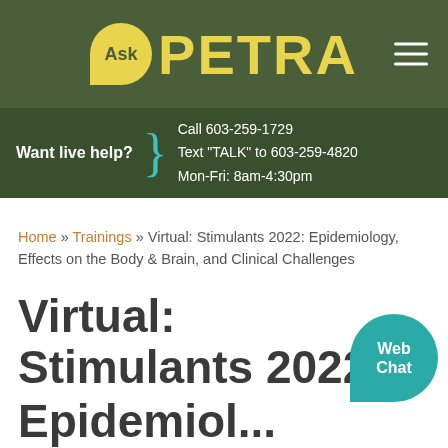Ask PETRA
Want live help? Call 603-259-1729 Text "TALK" to 603-259-4820 Mon-Fri: 8am-4:30pm
Home » Trainings » Virtual: Stimulants 2022: Epidemiology, Effects on the Body & Brain, and Clinical Challenges
Virtual: Stimulants 2022: